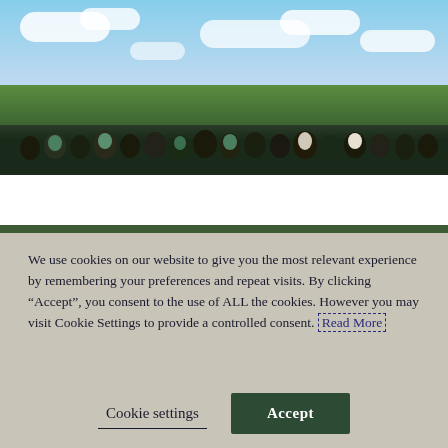[Figure (photo): Outdoor photo showing a group of people/students standing in a field with green countryside and a partly cloudy blue sky in the background.]
We use cookies on our website to give you the most relevant experience by remembering your preferences and repeat visits. By clicking “Accept”, you consent to the use of ALL the cookies. However you may visit Cookie Settings to provide a controlled consent. Read More
Cookie settings
Accept